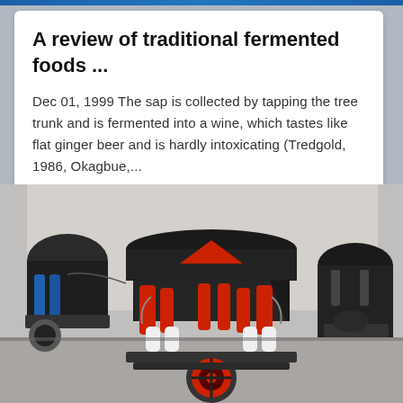A review of traditional fermented foods ...
Dec 01, 1999 The sap is collected by tapping the tree trunk and is fermented into a wine, which tastes like flat ginger beer and is hardly intoxicating (Tredgold, 1986, Okagbue,...
[Figure (photo): Industrial cone crusher machine in red and black, with blue hydraulic cylinders on the left and another machine on the right, photographed in a factory setting.]